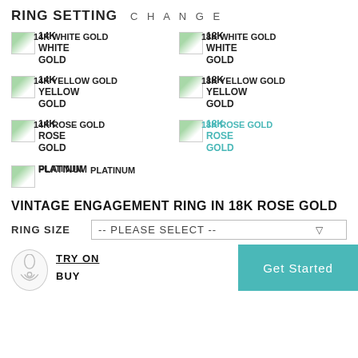RING SETTING   C H A N G E
14K WHITE GOLD
18K WHITE GOLD
14K YELLOW GOLD
18K YELLOW GOLD
14K ROSE GOLD
18K ROSE GOLD (selected)
PLATINUM
VINTAGE ENGAGEMENT RING IN 18K ROSE GOLD
RING SIZE  -- PLEASE SELECT --
TRY ON  BUY
Get Started